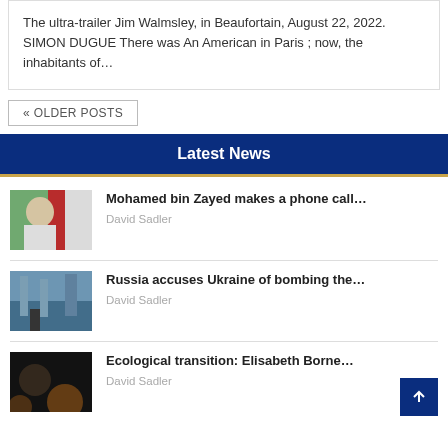The ultra-trailer Jim Walmsley, in Beaufortain, August 22, 2022. SIMON DUGUE There was An American in Paris ; now, the inhabitants of…
« OLDER POSTS
Latest News
[Figure (photo): Portrait photo of Mohamed bin Zayed with UAE flag in background]
Mohamed bin Zayed makes a phone call…
David Sadler
[Figure (photo): Industrial/power plant scene with a figure in the foreground]
Russia accuses Ukraine of bombing the…
David Sadler
[Figure (photo): Dark portrait photo, person with stage lighting]
Ecological transition: Elisabeth Borne…
David Sadler